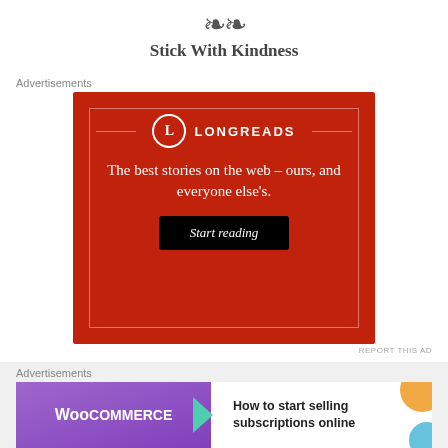Stick With Kindness
Advertisements
[Figure (screenshot): Longreads advertisement banner on red background. Logo with 'L' in circle and 'LONGREADS' text. Tagline: 'The best stories on the web – ours, and everyone else's.' with a black 'Start reading' button.]
REPORT THIS AD
Advertisements
[Figure (screenshot): WooCommerce advertisement. Purple background with WooCommerce logo and arrow, white section with text 'How to start selling subscriptions online', orange/teal decorative shapes.]